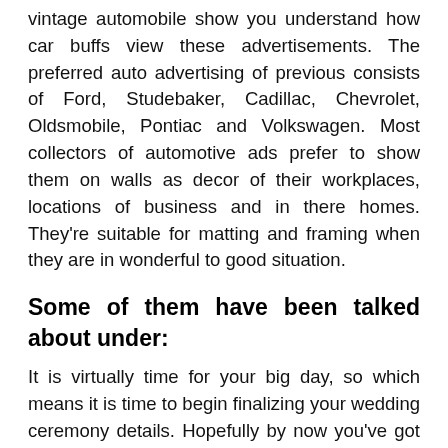vintage automobile show you understand how car buffs view these advertisements. The preferred auto advertising of previous consists of Ford, Studebaker, Cadillac, Chevrolet, Oldsmobile, Pontiac and Volkswagen. Most collectors of automotive ads prefer to show them on walls as decor of their workplaces, locations of business and in there homes. They're suitable for matting and framing when they are in wonderful to good situation.
Some of them have been talked about under:
It is virtually time for your big day, so which means it is time to begin finalizing your wedding ceremony details. Hopefully by now you've got decided on a venue and caterer, however it can be crucial that you do not neglect the process of choosing a marriage automotive. While the small print of a automotive